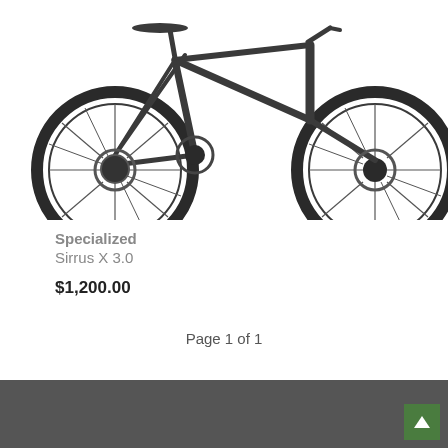[Figure (photo): A dark grey/charcoal Specialized Sirrus X 3.0 hybrid bicycle shown in profile view against a white background, cropped at the top of the page.]
Specialized
Sirrus X 3.0
$1,200.00
Page 1 of 1
footer navigation bar with green up-arrow button